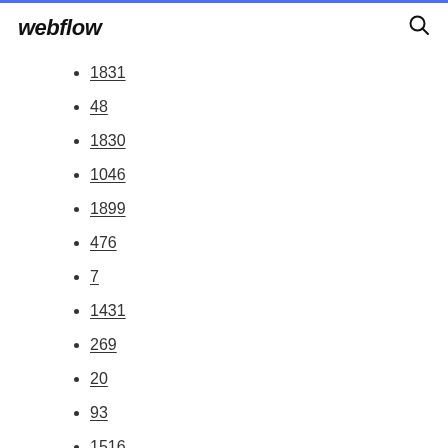webflow
1831
48
1830
1046
1899
476
7
1431
269
20
93
1516